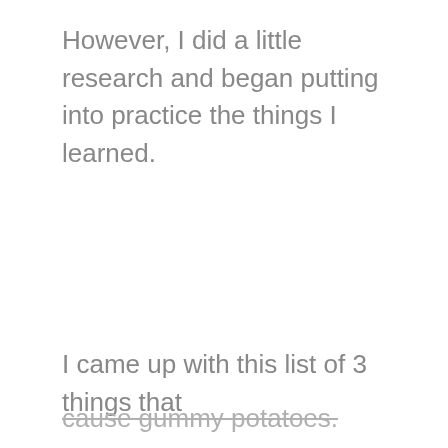However, I did a little research and began putting into practice the things I learned.
I came up with this list of 3 things that
cause gummy potatoes.